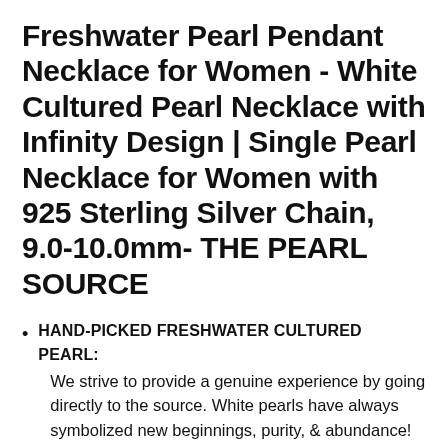Freshwater Pearl Pendant Necklace for Women - White Cultured Pearl Necklace with Infinity Design | Single Pearl Necklace for Women with 925 Sterling Silver Chain, 9.0-10.0mm- THE PEARL SOURCE
HAND-PICKED FRESHWATER CULTURED PEARL: We strive to provide a genuine experience by going directly to the source. White pearls have always symbolized new beginnings, purity, & abundance! We create all pearl and chain necklaces for women in house to ensure that every order adheres to the highest